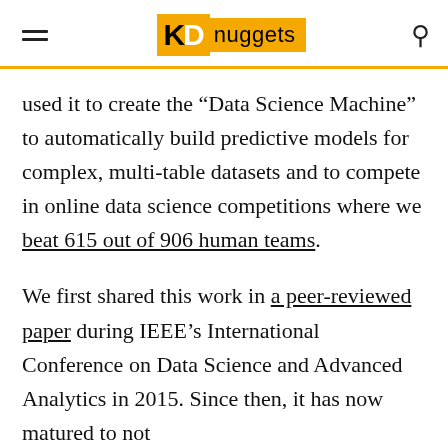KDnuggets
used it to create the “Data Science Machine” to automatically build predictive models for complex, multi-table datasets and to compete in online data science competitions where we beat 615 out of 906 human teams.
We first shared this work in a peer-reviewed paper during IEEE’s International Conference on Data Science and Advanced Analytics in 2015. Since then, it has now matured to not